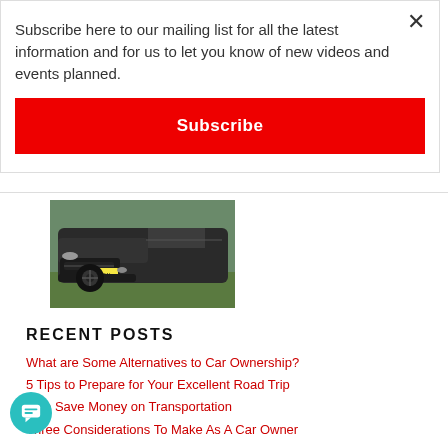Subscribe here to our mailing list for all the latest information and for us to let you know of new videos and events planned.
Subscribe
[Figure (photo): Close-up photo of the front/lower portion of a dark SUV/crossover vehicle parked on grass with trees in background. UK license plate visible.]
RECENT POSTS
What are Some Alternatives to Car Ownership?
5 Tips to Prepare for Your Excellent Road Trip
to Save Money on Transportation
Three Considerations To Make As A Car Owner